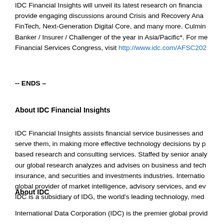IDC Financial Insights will unveil its latest research on financial... provide engaging discussions around Crisis and Recovery Ana... FinTech, Next-Generation Digital Core, and many more. Culmin... Banker / Insurer / Challenger of the year in Asia/Pacific*. For me... Financial Services Congress, visit http://www.idc.com/AFSC202...
-- ENDS –
About IDC Financial Insights
IDC Financial Insights assists financial service businesses and... serve them, in making more effective technology decisions by p... based research and consulting services. Staffed by senior analy... our global research analyzes and advises on business and tech... insurance, and securities and investments industries. Internatio... global provider of market intelligence, advisory services, and ev... IDC is a subsidiary of IDG, the world's leading technology, med...
About IDC
International Data Corporation (IDC) is the premier global provid...